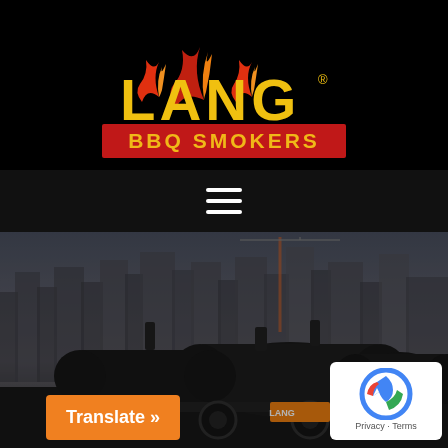[Figure (logo): Lang BBQ Smokers logo on black background — LANG in large yellow flame-style letters with fire illustration above, BBQ SMOKERS in yellow text on red bar below]
[Figure (illustration): Hamburger/menu icon — three white horizontal lines centered on dark background]
[Figure (photo): Photograph of a large Lang BBQ smoker trailer with city skyline in background; 'LANG' label visible on trailer; dark moody tone]
Translate »
[Figure (other): Google reCAPTCHA badge widget showing reCAPTCHA logo with Privacy and Terms links]